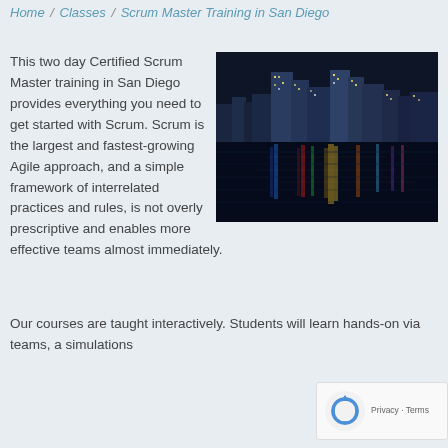Home / Classes / Scrum Master Training in San Diego
[Figure (photo): Night cityscape of San Diego skyline reflected in water with colorful lights]
This two day Certified Scrum Master training in San Diego provides everything you need to get started with Scrum. Scrum is the largest and fastest-growing Agile approach, and a simple framework of interrelated practices and rules, is not overly prescriptive and enables more effective teams almost immediately.
Our courses are taught interactively. Students will learn hands-on via teams, a simulations